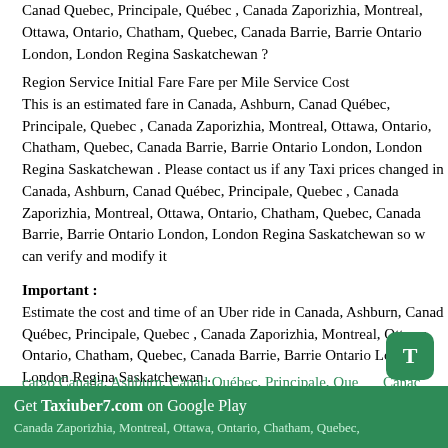Canad Quebec, Principale, Québec , Canada Zaporizhia, Montreal, Ottawa, Ontario, Chatham, Quebec, Canada Barrie, Barrie Ontario London, London Regina Saskatchewan ?
Region Service Initial Fare Fare per Mile Service Cost
This is an estimated fare in Canada, Ashburn, Canad Québec, Principale, Quebec , Canada Zaporizhia, Montreal, Ottawa, Ontario, Chatham, Quebec, Canada Barrie, Barrie Ontario London, London Regina Saskatchewan . Please contact us if any Taxi prices changed in Canada, Ashburn, Canad Québec, Principale, Quebec , Canada Zaporizhia, Montreal, Ottawa, Ontario, Chatham, Quebec, Canada Barrie, Barrie Ontario London, London Regina Saskatchewan so we can verify and modify it
Important :
Estimate the cost and time of an Uber ride in Canada, Ashburn, Canad Québec, Principale, Quebec , Canada Zaporizhia, Montreal, Ottawa, Ontario, Chatham, Quebec, Canada Barrie, Barrie Ontario London, London Regina Saskatchewan .
With
cargo Canada, Ashburn, Canad Québec, Principale, Quebec , Canada Zaporizhia, Montreal, Ottawa, Ontario, Chatham, Quebec, Canada Barrie, Barrie Ontario London, London Regina Saskatchewan ,
travel Canada, Ashburn, Canad Québec, Principale, Quebec , Canada Zaporizhia, Montreal, Ottawa, Ontario, Chatham, Quebec,
Get Taxiuber7.com on Google Play